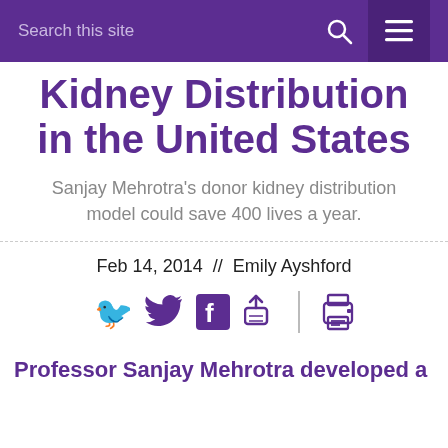Search this site
Kidney Distribution in the United States
Sanjay Mehrotra's donor kidney distribution model could save 400 lives a year.
Feb 14, 2014 //  Emily Ayshford
[Figure (infographic): Social sharing icons: Twitter bird, Facebook F, share/upload icon, vertical separator, printer icon — all in purple]
Professor Sanjay Mehrotra developed a